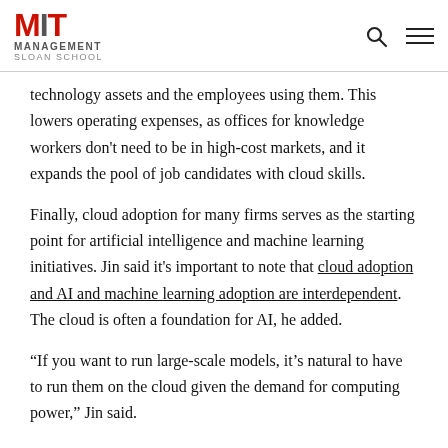MIT Management Sloan School
technology assets and the employees using them. This lowers operating expenses, as offices for knowledge workers don't need to be in high-cost markets, and it expands the pool of job candidates with cloud skills.
Finally, cloud adoption for many firms serves as the starting point for artificial intelligence and machine learning initiatives. Jin said it's important to note that cloud adoption and AI and machine learning adoption are interdependent. The cloud is often a foundation for AI, he added.
“If you want to run large-scale models, it’s natural to have to run them on the cloud given the demand for computing power,” Jin said.